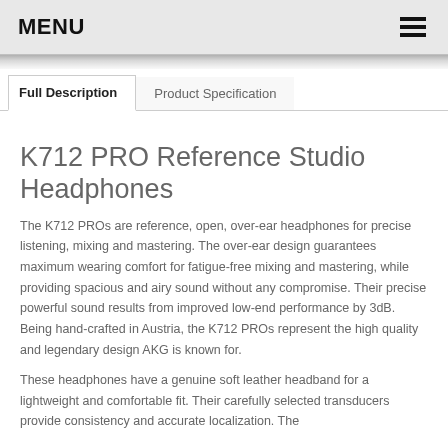MENU
Full Description | Product Specification
K712 PRO Reference Studio Headphones
The K712 PROs are reference, open, over-ear headphones for precise listening, mixing and mastering. The over-ear design guarantees maximum wearing comfort for fatigue-free mixing and mastering, while providing spacious and airy sound without any compromise. Their precise powerful sound results from improved low-end performance by 3dB. Being hand-crafted in Austria, the K712 PROs represent the high quality and legendary design AKG is known for.
These headphones have a genuine soft leather headband for a lightweight and comfortable fit. Their carefully selected transducers provide consistency and accurate localization. The